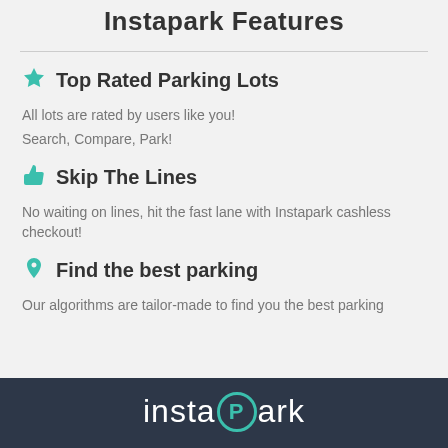Instapark Features
Top Rated Parking Lots
All lots are rated by users like you!
Search, Compare, Park!
Skip The Lines
No waiting on lines, hit the fast lane with Instapark cashless checkout!
Find the best parking
Our algorithms are tailor-made to find you the best parking
[Figure (logo): Instapark logo on dark background with teal P in circle]